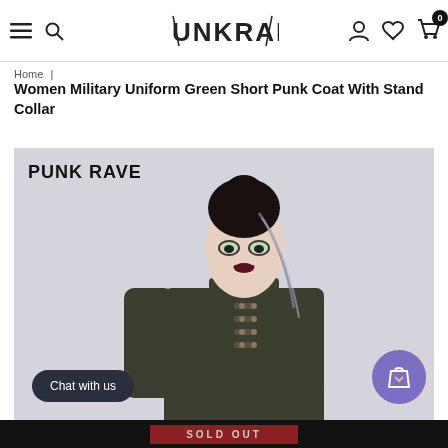PUNKRAVE | Navigation: hamburger menu, search, account, wishlist, cart (0)
Home | Women Military Uniform Green Short Punk Coat With Stand Collar
Women Military Uniform Green Short Punk Coat With Stand Collar
[Figure (photo): Female model wearing a dark green military-style short punk coat with stand collar, decorated with rows of buttons and braid trim. Model has dramatic gothic makeup and braided hair. Brand text 'PUNK RAVE' shown in top-left corner. Chat with us button and shopping bag icon buttons overlaid at bottom.]
SOLD OUT